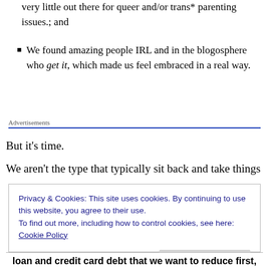very little out there for queer and/or trans* parenting issues.; and
We found amazing people IRL and in the blogosphere who get it, which made us feel embraced in a real way.
Advertisements
But it's time.
We aren't the type that typically sit back and take things
Privacy & Cookies: This site uses cookies. By continuing to use this website, you agree to their use.
To find out more, including how to control cookies, see here: Cookie Policy
Close and accept
loan and credit card debt that we want to reduce first,